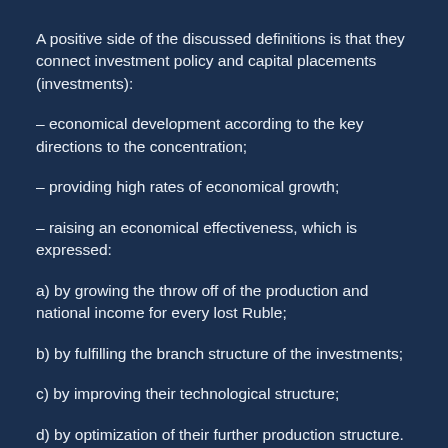A positive side of the discussed definitions is that they connect investment policy and capital placements (investments):
– economical development according to the key directions to the concentration;
– providing high rates of economical growth;
– raising an economical effectiveness, which is expressed:
a) by growing the throw off of the production and national income for every lost Ruble;
b) by fulfilling the branch structure of the investments;
c) by improving their technological structure;
d) by optimization of their further production structure.
Compared with such definition of the investments (capital